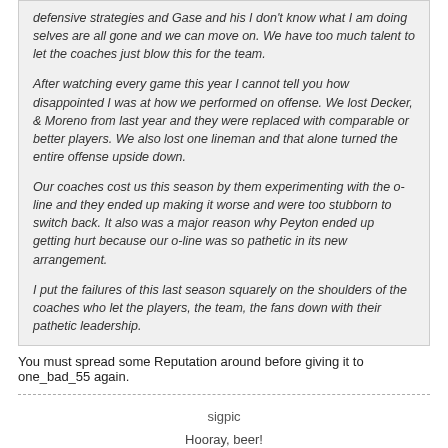defensive strategies and Gase and his I don't know what I am doing selves are all gone and we can move on. We have too much talent to let the coaches just blow this for the team.

After watching every game this year I cannot tell you how disappointed I was at how we performed on offense. We lost Decker, & Moreno from last year and they were replaced with comparable or better players. We also lost one lineman and that alone turned the entire offense upside down.

Our coaches cost us this season by them experimenting with the o-line and they ended up making it worse and were too stubborn to switch back. It also was a major reason why Peyton ended up getting hurt because our o-line was so pathetic in its new arrangement.

I put the failures of this last season squarely on the shoulders of the coaches who let the players, the team, the fans down with their pathetic leadership.
You must spread some Reputation around before giving it to one_bad_55 again.
sigpic
Hooray, beer!